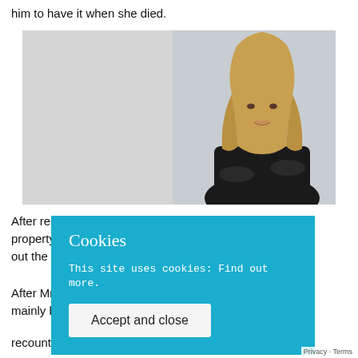him to have it when she died.
[Figure (photo): Professional headshot of a blonde woman in a black outfit, arms crossed, against a light grey/white background. Left half of the split image is lighter grey.]
After receiving [text obscured by cookie overlay] property regis[tered — text obscured] out the prope[rty — text obscured]
After Mrs Exle[r — text obscured] mainly benefic[iary — text obscured]
recounting Mrs Exler’s wish was not for Mr Keeling
[Figure (other): Cookie consent overlay box with cyan/blue background containing the title 'Cookies', text 'This site uses cookies: Find out more.' and an 'Accept and close' button.]
Privacy · Terms